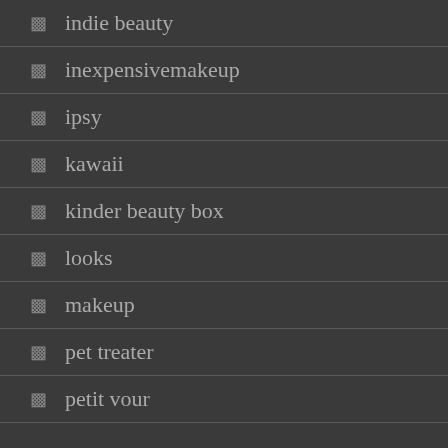indie beauty
inexpensivemakeup
ipsy
kawaii
kinder beauty box
looks
makeup
pet treater
petit vour